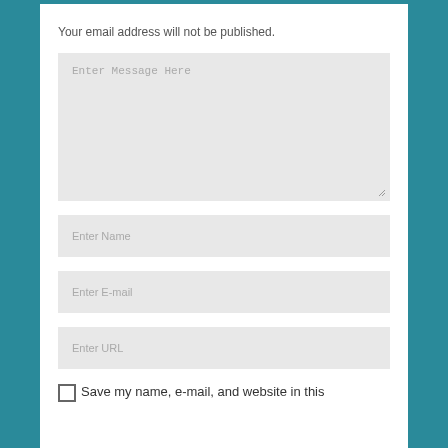Your email address will not be published.
Enter Message Here
Enter Name
Enter E-mail
Enter URL
Save my name, e-mail, and website in this